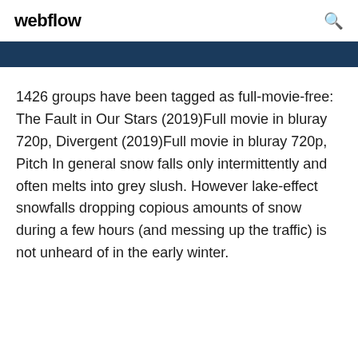webflow
1426 groups have been tagged as full-movie-free: The Fault in Our Stars (2019)Full movie in bluray 720p, Divergent (2019)Full movie in bluray 720p, Pitch In general snow falls only intermittently and often melts into grey slush. However lake-effect snowfalls dropping copious amounts of snow during a few hours (and messing up the traffic) is not unheard of in the early winter.